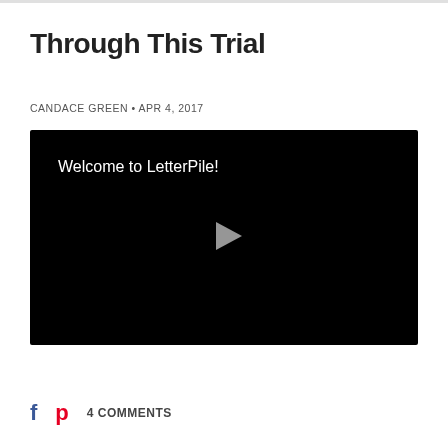Through This Trial
CANDACE GREEN • APR 4, 2017
[Figure (screenshot): Black video player with text 'Welcome to LetterPile!' in white at top left and a grey play button triangle in the center]
4 COMMENTS